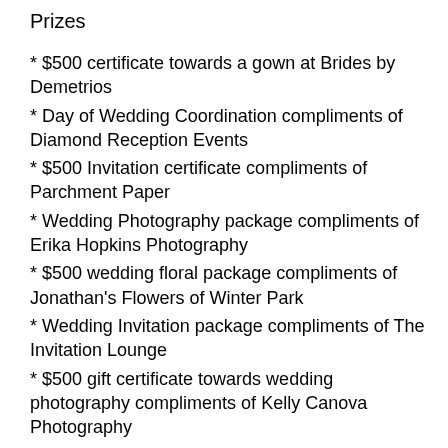Prizes
* $500 certificate towards a gown at Brides by Demetrios
* Day of Wedding Coordination compliments of Diamond Reception Events
* $500 Invitation certificate compliments of Parchment Paper
* Wedding Photography package compliments of Erika Hopkins Photography
* $500 wedding floral package compliments of Jonathan's Flowers of Winter Park
* Wedding Invitation package compliments of The Invitation Lounge
* $500 gift certificate towards wedding photography compliments of Kelly Canova Photography
* Engagement Session Package with Yanman Photography
* 50% off your reception at The Florida Hotel & Conference Center
* $1000 certificate towards wedding photography